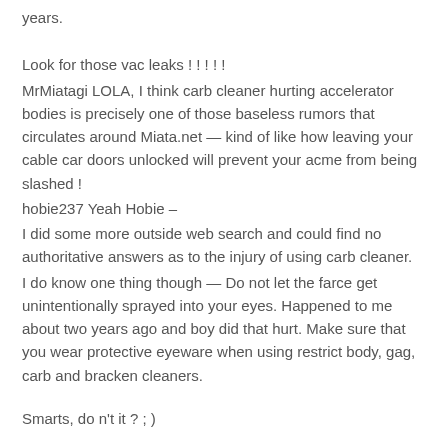years.
Look for those vac leaks ! ! ! ! !
MrMiatagi LOLA, I think carb cleaner hurting accelerator bodies is precisely one of those baseless rumors that circulates around Miata.net — kind of like how leaving your cable car doors unlocked will prevent your acme from being slashed !
hobie237 Yeah Hobie –
I did some more outside web search and could find no authoritative answers as to the injury of using carb cleaner.
I do know one thing though — Do not let the farce get unintentionally sprayed into your eyes. Happened to me about two years ago and boy did that hurt. Make sure that you wear protective eyeware when using restrict body, gag, carb and bracken cleaners.
Smarts, do n't it ? ; )